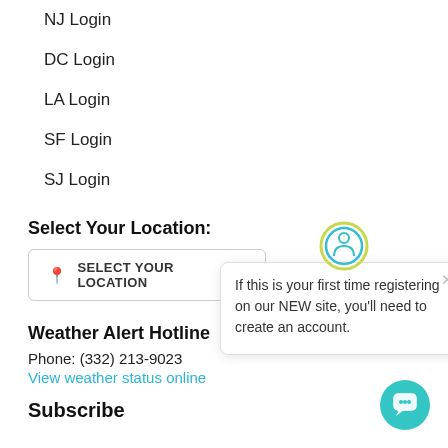NJ Login
DC Login
LA Login
SF Login
SJ Login
Select Your Location:
SELECT YOUR LOCATION
Weather Alert Hotline
Phone: (332) 213-9023
View weather status online
[Figure (infographic): Tooltip popup with circular user icon (teal and yellow outlined circle with person silhouette), close X button, and text: If this is your first time registering on our NEW site, you'll need to create an account.]
Subscribe
[Figure (infographic): Teal circular chat button with speech bubble icon at bottom right.]